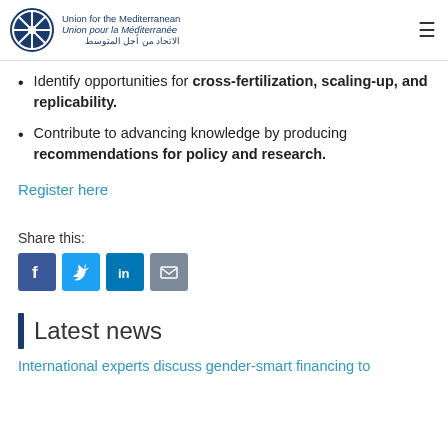Union for the Mediterranean / Union pour la Méditerranée / الاتحاد من أجل المتوسط
Identify opportunities for cross-fertilization, scaling-up, and replicability.
Contribute to advancing knowledge by producing recommendations for policy and research.
Register here
Share this:
[Figure (infographic): Social media share icons: Facebook (blue), Twitter (light blue), LinkedIn (dark blue), Email (grey)]
Latest news
International experts discuss gender-smart financing to